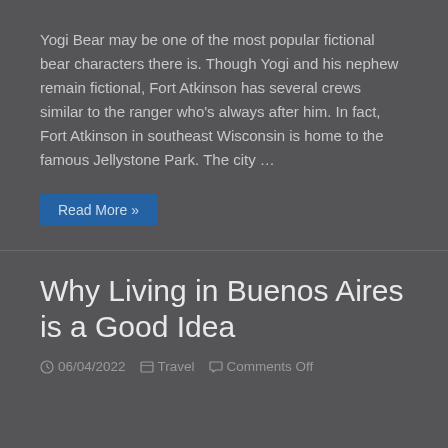Yogi Bear may be one of the most popular fictional bear characters there is. Though Yogi and his nephew remain fictional, Fort Atkinson has several crews similar to the ranger who's always after him. In fact, Fort Atkinson in southeast Wisconsin is home to the famous Jellystone Park. The city …
Read More »
Why Living in Buenos Aires is a Good Idea
06/04/2022  Travel  Comments Off